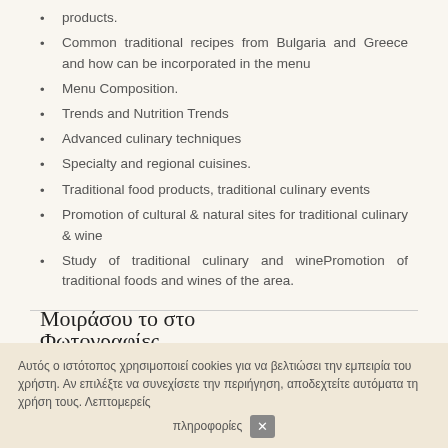products.
Common traditional recipes from Bulgaria and Greece and how can be incorporated in the menu
Menu Composition.
Trends and Nutrition Trends
Advanced culinary techniques
Specialty and regional cuisines.
Traditional food products, traditional culinary events
Promotion of cultural & natural sites for traditional culinary & wine
Study of traditional culinary and winePromotion of traditional foods and wines of the area.
Μοιράσου το στο
Φωτογραφίες
Αυτός ο ιστότοπος χρησιμοποιεί cookies για να βελτιώσει την εμπειρία του χρήστη. Αν επιλέξτε να συνεχίσετε την περιήγηση, αποδεχτείτε αυτόματα τη χρήση τους. Λεπτομερείς πληροφορίες ×